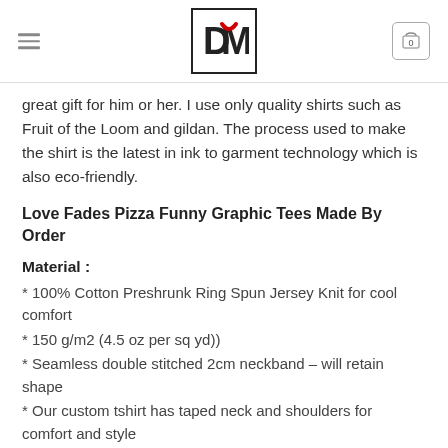[Logo: DM] [Cart: 0]
great gift for him or her. I use only quality shirts such as Fruit of the Loom and gildan. The process used to make the shirt is the latest in ink to garment technology which is also eco-friendly.
Love Fades Pizza Funny Graphic Tees Made By Order
Material :
* 100% Cotton Preshrunk Ring Spun Jersey Knit for cool comfort
* 150 g/m2 (4.5 oz per sq yd))
* Seamless double stitched 2cm neckband – will retain shape
* Our custom tshirt has taped neck and shoulders for comfort and style
* Sleeves and bottom hems are double stitched for strength and durability